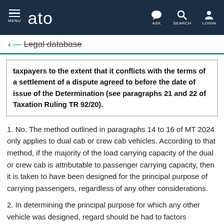ato — MENU | ASK | SEARCH | LOGIN
← Legal database
taxpayers to the extent that it conflicts with the terms of a settlement of a dispute agreed to before the date of issue of the Determination (see paragraphs 21 and 22 of Taxation Ruling TR 92/20).
1. No. The method outlined in paragraphs 14 to 16 of MT 2024 only applies to dual cab or crew cab vehicles. According to that method, if the majority of the load carrying capacity of the dual or crew cab is attributable to passenger carrying capacity, then it is taken to have been designed for the principal purpose of carrying passengers, regardless of any other considerations.
2. In determining the principal purpose for which any other vehicle was designed, regard should be had to factors including, but not limited to, the following: